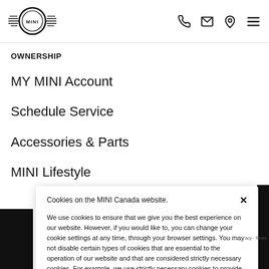MINI logo and navigation icons (phone, email, location, menu)
OWNERSHIP
MY MINI Account
Schedule Service
Accessories & Parts
MINI Lifestyle
Cookies on the MINI Canada website.

We use cookies to ensure that we give you the best experience on our website. However, if you would like to, you can change your cookie settings at any time, through your browser settings. You may not disable certain types of cookies that are essential to the operation of our website and that are considered strictly necessary cookies. For example, we use strictly necessary cookies to provide you with regional pricing information. You can find detailed information about how cookies are used on this website by clicking here.